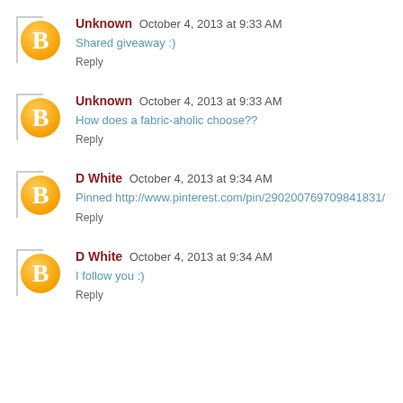Unknown  October 4, 2013 at 9:33 AM
Shared giveaway :)
Reply
Unknown  October 4, 2013 at 9:33 AM
How does a fabric-aholic choose??
Reply
D White  October 4, 2013 at 9:34 AM
Pinned http://www.pinterest.com/pin/290200769709841831/
Reply
D White  October 4, 2013 at 9:34 AM
I follow you :)
Reply